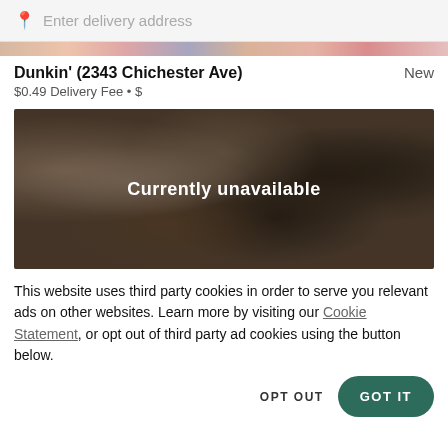Enter delivery address
Dunkin' (2343 Chichester Ave)
New
$0.49 Delivery Fee • $
[Figure (photo): Food photo showing dishes from above, with a dark overlay and 'Currently unavailable' text centered on the image.]
This website uses third party cookies in order to serve you relevant ads on other websites. Learn more by visiting our Cookie Statement, or opt out of third party ad cookies using the button below.
OPT OUT
GOT IT